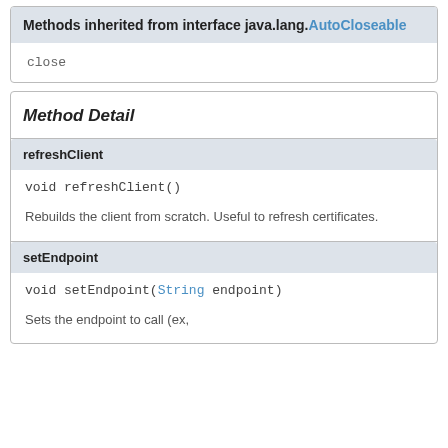Methods inherited from interface java.lang.AutoCloseable
close
Method Detail
refreshClient
void refreshClient()
Rebuilds the client from scratch. Useful to refresh certificates.
setEndpoint
void setEndpoint(String endpoint)
Sets the endpoint to call (ex,